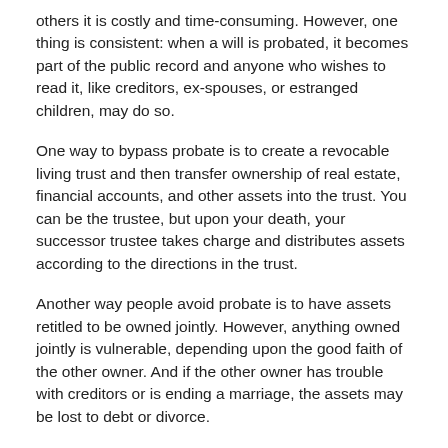others it is costly and time-consuming. However, one thing is consistent: when a will is probated, it becomes part of the public record and anyone who wishes to read it, like creditors, ex-spouses, or estranged children, may do so.
One way to bypass probate is to create a revocable living trust and then transfer ownership of real estate, financial accounts, and other assets into the trust. You can be the trustee, but upon your death, your successor trustee takes charge and distributes assets according to the directions in the trust.
Another way people avoid probate is to have assets retitled to be owned jointly. However, anything owned jointly is vulnerable, depending upon the good faith of the other owner. And if the other owner has trouble with creditors or is ending a marriage, the assets may be lost to debt or divorce.
Accounts with beneficiaries, like life insurance and retirement funds bypass probate. The person named as the beneficiary receives assets directly. Just be sure the designated beneficiaries are updated every few years to be current.
Assets titled “Payable on Death” (POD), or “Transfer on Death” (TOD) designate beneficiaries and bypass probate, but not all financial institutions allow their use.